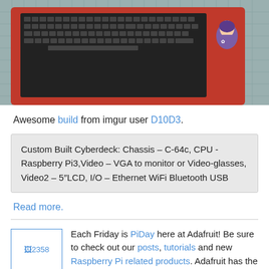[Figure (photo): Photo of a custom-built Cyberdeck laptop with a red chassis and black keyboard, placed on a gridded mat.]
Awesome build from imgur user D10D3.
Custom Built Cyberdeck: Chassis – C-64c, CPU -Raspberry Pi3,Video – VGA to monitor or Video-glasses, Video2 – 5"LCD, I/O – Ethernet WiFi Bluetooth USB
Read more.
Each Friday is PiDay here at Adafruit! Be sure to check out our posts, tutorials and new Raspberry Pi related products. Adafruit has the largest and